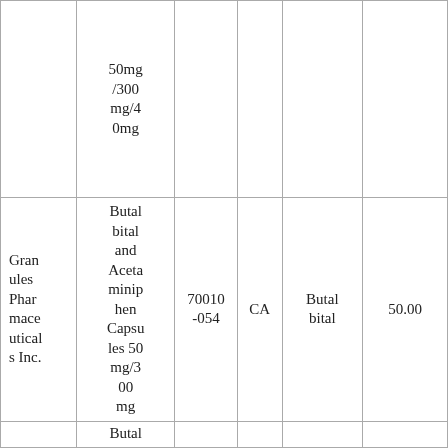|  | 50mg/300mg/40mg |  |  |  |  |
| Granules Pharmaceuticals Inc. | Butalbital and Acetaminiphen Capsules 50mg/300mg | 70010-054 | CA | Butalbital | 50.00 |
|  | Butal... |  |  |  |  |